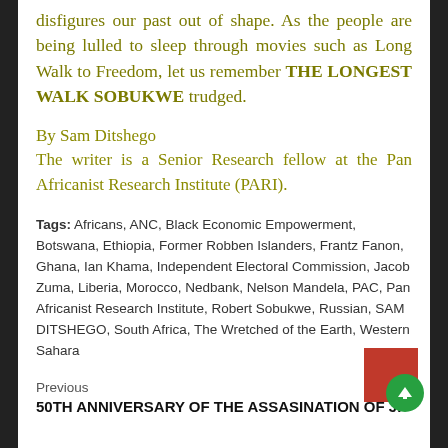disfigures our past out of shape. As the people are being lulled to sleep through movies such as Long Walk to Freedom, let us remember THE LONGEST WALK SOBUKWE trudged.
By Sam Ditshego
The writer is a Senior Research fellow at the Pan Africanist Research Institute (PARI).
Tags: Africans, ANC, Black Economic Empowerment, Botswana, Ethiopia, Former Robben Islanders, Frantz Fanon, Ghana, Ian Khama, Independent Electoral Commission, Jacob Zuma, Liberia, Morocco, Nedbank, Nelson Mandela, PAC, Pan Africanist Research Institute, Robert Sobukwe, Russian, SAM DITSHEGO, South Africa, The Wretched of the Earth, Western Sahara
Previous
50TH ANNIVERSARY OF THE ASSASINATION OF JF